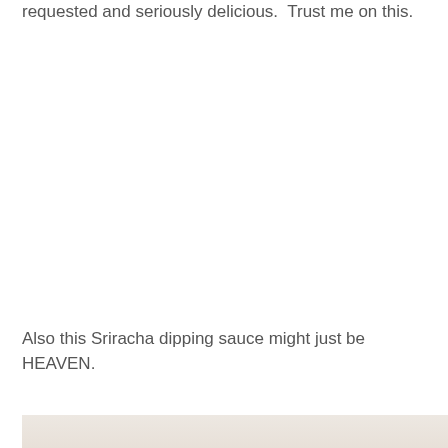requested and seriously delicious.  Trust me on this.
Also this Sriracha dipping sauce might just be HEAVEN.
[Figure (photo): Partial photo of food item, appears to show a cream/beige colored food dish, cropped at the bottom of the page.]